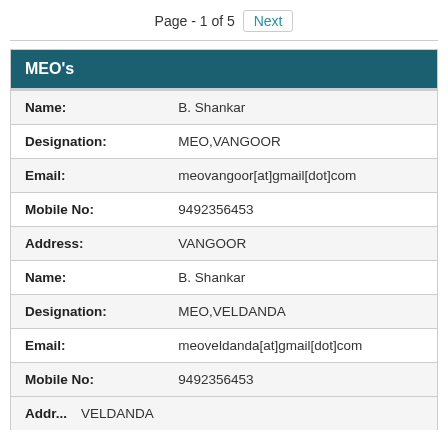Page - 1 of 5  Next
| MEO's |
| --- |
| Name: | B. Shankar |
| Designation: | MEO,VANGOOR |
| Email: | meovangoor[at]gmail[dot]com |
| Mobile No: | 9492356453 |
| Address: | VANGOOR |
| Name: | B. Shankar |
| Designation: | MEO,VELDANDA |
| Email: | meoveldanda[at]gmail[dot]com |
| Mobile No: | 9492356453 |
| Address: | VELDANDA |